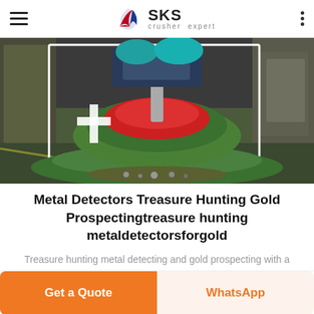SKS crusher expert
[Figure (photo): Industrial crusher/mill machinery in a factory setting, showing a large green circular machine with red components, viewed from above in an industrial workshop.]
Metal Detectors Treasure Hunting Gold Prospectingtreasure hunting metaldetectorsforgold
Treasure hunting metal detecting and gold prospecting with a long range metal detector for lost or buried treasure Fitzgeralds
Get a Quote
WhatsApp